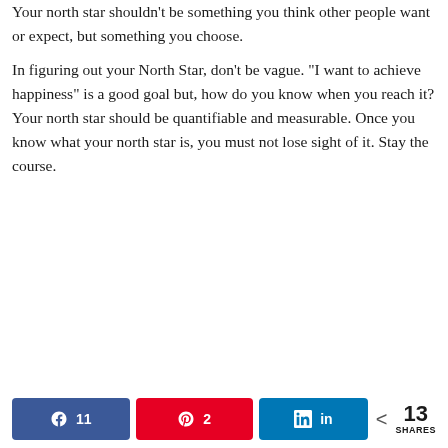Your north star shouldn't be something you think other people want or expect, but something you choose.
In figuring out your North Star, don't be vague. "I want to achieve happiness" is a good goal but, how do you know when you reach it? Your north star should be quantifiable and measurable. Once you know what your north star is, you must not lose sight of it. Stay the course.
Facebook 11  Pinterest 2  LinkedIn  < 13 SHARES